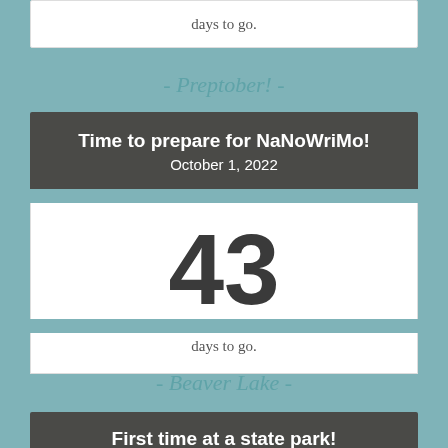days to go.
- Preptober! -
Time to prepare for NaNoWriMo! October 1, 2022
43
days to go.
- Beaver Lake -
First time at a state park!